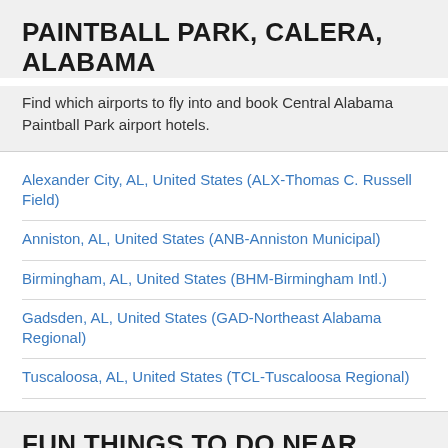PAINTBALL PARK, CALERA, ALABAMA
Find which airports to fly into and book Central Alabama Paintball Park airport hotels.
Alexander City, AL, United States (ALX-Thomas C. Russell Field)
Anniston, AL, United States (ANB-Anniston Municipal)
Birmingham, AL, United States (BHM-Birmingham Intl.)
Gadsden, AL, United States (GAD-Northeast Alabama Regional)
Tuscaloosa, AL, United States (TCL-Tuscaloosa Regional)
FUN THINGS TO DO NEAR CENTRAL ALABAMA PAINTBALL PARK AREA
Top tourist attractions and popular landmarks near Central Alabama Paintball